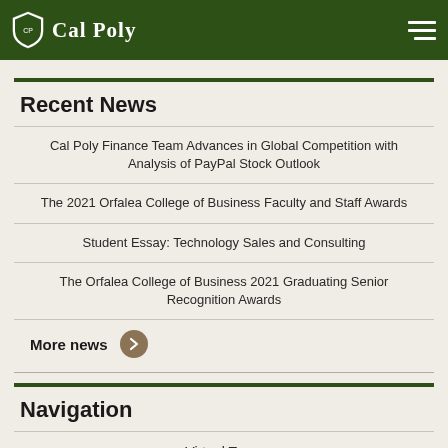Cal Poly
Recent News
Cal Poly Finance Team Advances in Global Competition with Analysis of PayPal Stock Outlook
The 2021 Orfalea College of Business Faculty and Staff Awards
Student Essay: Technology Sales and Consulting
The Orfalea College of Business 2021 Graduating Senior Recognition Awards
More news
Navigation
Virtual Tours